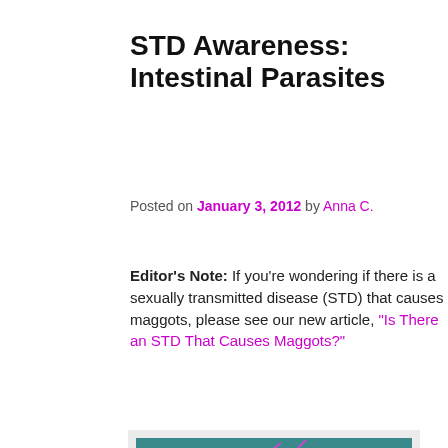STD Awareness: Intestinal Parasites
Posted on January 3, 2012 by Anna C.
Editor's Note: If you’re wondering if there is a sexually transmitted disease (STD) that causes maggots, please see our new article, “Is There an STD That Causes Maggots?”
[Figure (photo): Colorized scanning electron micrograph showing intestinal parasites (Giardia) — two teardrop-shaped organisms in golden/tan color with pink flagella against a teal background. Scale bar reads 3 microns.]
This colorized scanning electron micrograph shows